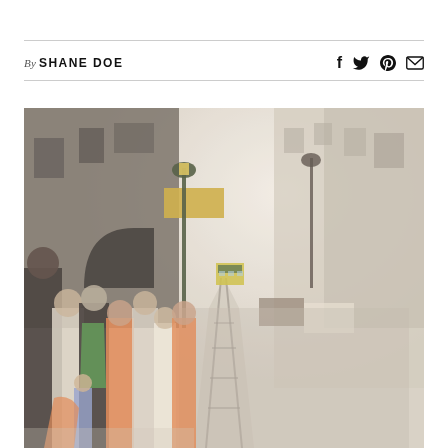By SHANE DOE
[Figure (photo): Street scene showing people waiting on a narrow European street with tram tracks, a yellow tram approaching in the background, classic buildings lining both sides, and a green lamppost. Many people with backpacks are queued on the left sidewalk.]